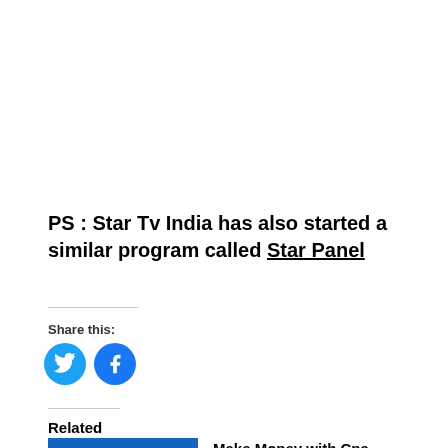PS : Star Tv India has also started a similar program called Star Panel
Share this:
[Figure (illustration): Twitter bird icon in blue circle and Facebook 'f' icon in blue circle, side by side social share buttons]
Related
[Figure (screenshot): Blue banner image with text 'Share your opinion, Make it count!']
Make Money with Cpa